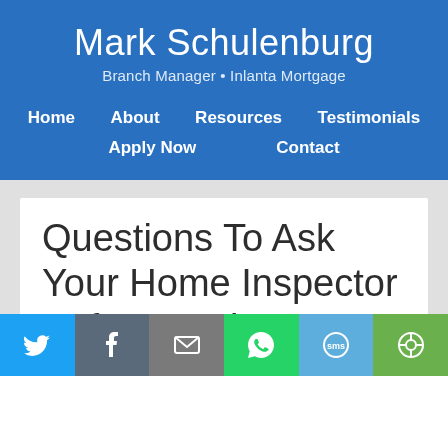Mark Schulenburg
Branch Manager • Inlanta Mortgage
Home   About   Resources   Testimonials   Apply Now   Contact
Questions To Ask Your Home Inspector Before Buying Your